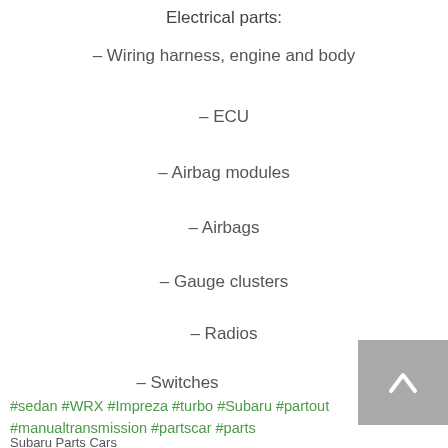Electrical parts:
– Wiring harness, engine and body
– ECU
– Airbag modules
– Airbags
– Gauge clusters
– Radios
– Switches
#sedan #WRX #Impreza #turbo #Subaru #partout #manualtransmission #partscar #parts
Subaru Parts Cars